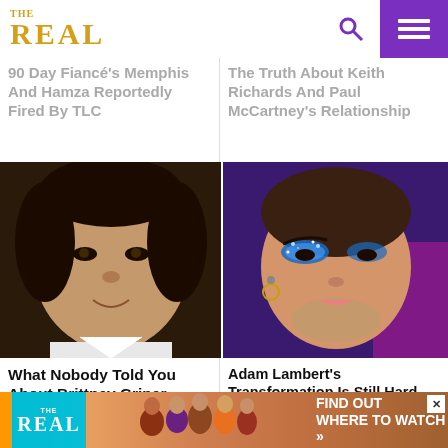THE REAL
90 Day Fiancé's Memphis And Hamza Reportedly Fired By TLC
The Truth About Keith Richards And Paul McCartney's Relationship
[Figure (photo): Close-up photo of Brittney Griner's face]
[Figure (photo): Close-up photo of Adam Lambert wearing blue glitter eyeshadow]
What Nobody Told You About Brittney Griner
Adam Lambert's Transformation Is Still Hard For Fans To Swallow
[Figure (infographic): The Real TV show advertisement banner - FIND OUT WHERE TO WATCH]